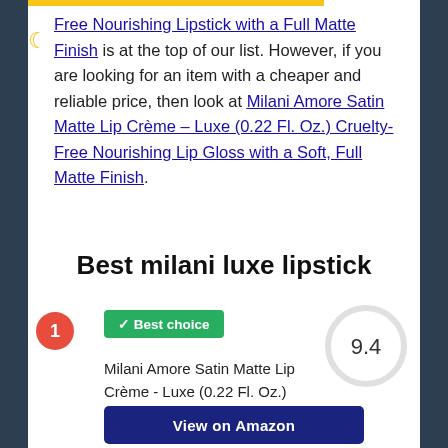Free Nourishing Lipstick with a Full Matte Finish is at the top of our list. However, if you are looking for an item with a cheaper and reliable price, then look at Milani Amore Satin Matte Lip Crème – Luxe (0.22 Fl. Oz.) Cruelty-Free Nourishing Lip Gloss with a Soft, Full Matte Finish.
Best milani luxe lipstick
✓ Best choice
9.4
Milani Amore Satin Matte Lip Crème - Luxe (0.22 Fl. Oz.) Cruelty-Free Nourishing Lip Gloss with a...
View on Amazon